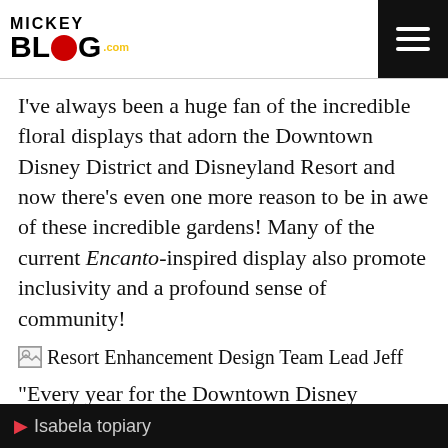MickeyBlog.com
I've always been a huge fan of the incredible floral displays that adorn the Downtown Disney District and Disneyland Resort and now there's even one more reason to be in awe of these incredible gardens!  Many of the current Encanto-inspired display also promote inclusivity and a profound sense of community!
[Figure (photo): Broken image placeholder with alt text: Resort Enhancement Design Team Lead Jeff]
“Every year for the Downtown Disney District, we try to bring new and exciting décor, and this year we wanted to do something spectacular for our cast and guests,” said Resort Enhancement Design Team Lead Jeff.
Isabela topiary